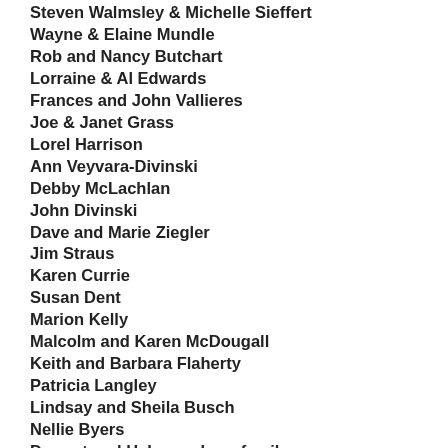Steven Walmsley & Michelle Sieffert
Wayne & Elaine Mundle
Rob and Nancy Butchart
Lorraine & Al Edwards
Frances and John Vallieres
Joe & Janet Grass
Lorel Harrison
Ann Veyvara-Divinski
Debby McLachlan
John Divinski
Dave and Marie Ziegler
Jim Straus
Karen Currie
Susan Dent
Marion Kelly
Malcolm and Karen McDougall
Keith and Barbara Flaherty
Patricia Langley
Lindsay and Sheila Busch
Nellie Byers
Dermot and Helen and our family
Greg and Nancy Sharpe
Heather & Don Campbell